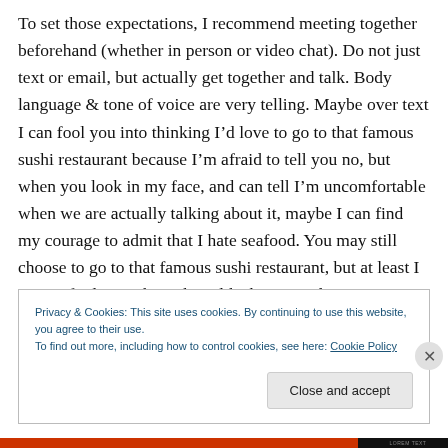To set those expectations, I recommend meeting together beforehand (whether in person or video chat). Do not just text or email, but actually get together and talk. Body language & tone of voice are very telling. Maybe over text I can fool you into thinking I’d love to go to that famous sushi restaurant because I’m afraid to tell you no, but when you look in my face, and can tell I’m uncomfortable when we are actually talking about it, maybe I can find my courage to admit that I hate seafood. You may still choose to go to that famous sushi restaurant, but at least I can go find something that I like better, and it’s no surprise to you,
Privacy & Cookies: This site uses cookies. By continuing to use this website, you agree to their use.
To find out more, including how to control cookies, see here: Cookie Policy
Close and accept